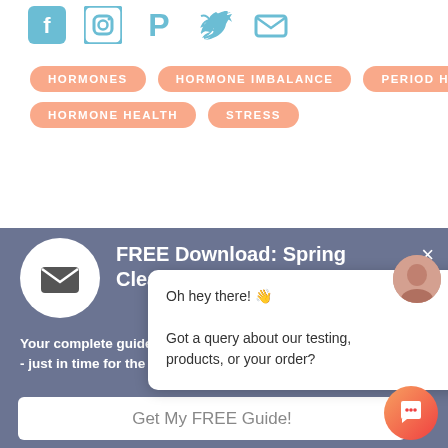[Figure (illustration): Social media icons row: Facebook, Instagram, Pinterest, Twitter, Email in teal/blue color]
HORMONES
HORMONE IMBALANCE
PERIOD HEALTH
HORMONE HEALTH
STRESS
FREE Download: Spring Clean Your Hormones!
Your complete guide to hormone health, to feel - just in time for the summer season.
Get My FREE Guide!
Oh hey there! 👋
Got a query about our testing, products, or your order?